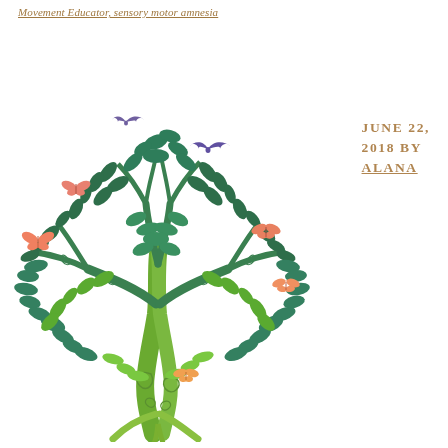Movement Educator, sensory motor amnesia
[Figure (illustration): A decorative tree illustration with green foliage, swirling branches, colorful butterflies (orange/pink), and birds in flight (purple). The tree transitions from dark teal-green at the top to yellow-green at the roots.]
JUNE 22, 2018 BY ALANA